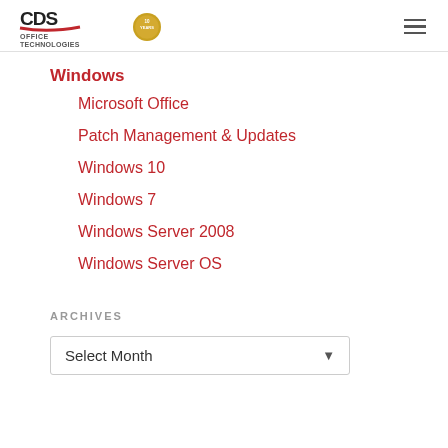[Figure (logo): CDS Office Technologies logo with red swoosh and gold 10 Years badge]
Windows
Microsoft Office
Patch Management & Updates
Windows 10
Windows 7
Windows Server 2008
Windows Server OS
ARCHIVES
Select Month